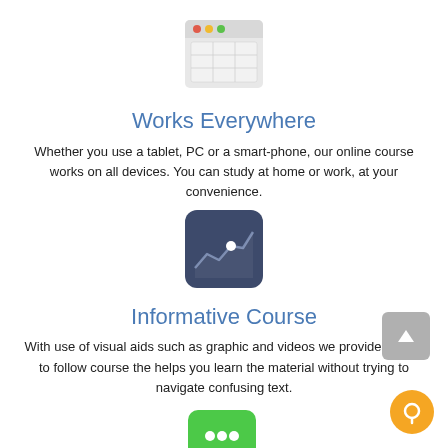[Figure (illustration): Browser window icon with colored traffic-light buttons (red, yellow, green) and a grid/table layout inside, light gray background]
Works Everywhere
Whether you use a tablet, PC or a smart-phone, our online course works on all devices. You can study at home or work, at your convenience.
[Figure (illustration): Dark navy/slate square icon with a white line-chart (stock chart) and a white dot, representing analytics or financial tracking]
Informative Course
With use of visual aids such as graphic and videos we provide a easy to follow course the helps you learn the material without trying to navigate confusing text.
[Figure (illustration): Green rounded-rectangle chat bubble icon with three white dots (ellipsis), indicating messaging or chat feature]